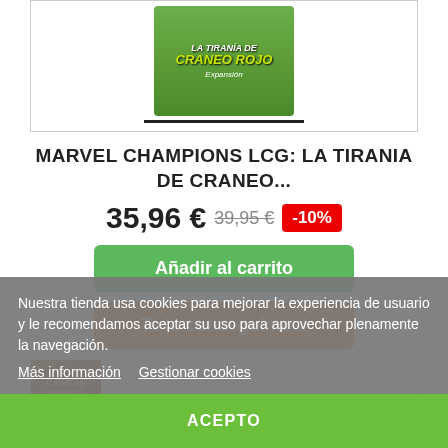[Figure (photo): Product box image for Marvel Champions LCG: La Tiranía de Cráneo Rojo board game expansion, with green background and yellow title text. A black horizontal bar appears below the box image.]
MARVEL CHAMPIONS LCG: LA TIRANIA DE CRANEO...
35,96 € 39,95 € -10%
Añadir al carrito
Te lo conseguimos!
[Figure (photo): Related product image showing Capitán América game box with brown/golden tones.]
Nuestra tienda usa cookies para mejorar la experiencia de usuario y le recomendamos aceptar su uso para aprovechar plenamente la navegación.
Más información   Gestionar cookies
ACEPTO